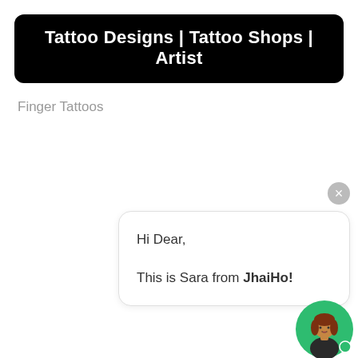Tattoo Designs | Tattoo Shops | Artist
Finger Tattoos
Hi Dear,

This is Sara from JhaiHo!
[Figure (illustration): Green circle avatar with a cartoon woman with red/auburn hair]